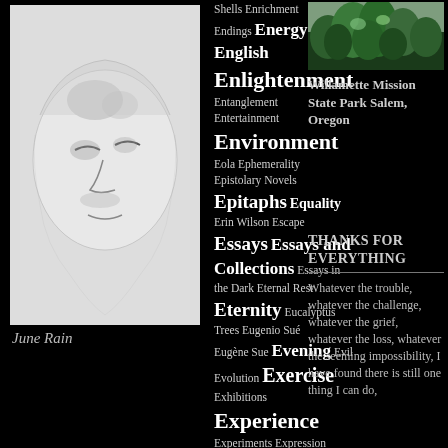[Figure (illustration): Grayscale pencil sketch of a face with closed or downcast eyes on white/light background]
June Rain
Shells Enrichment Endings Energy England English Enlightenment Entanglement Entertainment Environment Eola Ephemerality Epistolary Novels Epitaphs Equality Erin Wilson Escape Essays Essays and Collections Essays in the Dark Eternal Rest Eternity Eucalyptus Trees Eugenio Sué Eugène Sue Evening Evil Evolution Exercise Exhibitions Experience Experiments Expression Extreme Heat Eyes Ezra Pound Fables Faces
[Figure (photo): Photo of green trees/foliage at Willamette Mission State Park]
Willamette Mission State Park Salem, Oregon
THANKS FOR EVERYTHING
Whatever the trouble, whatever the challenge, whatever the grief, whatever the loss, whatever the seeming impossibility, I have found there is still one thing I can do,